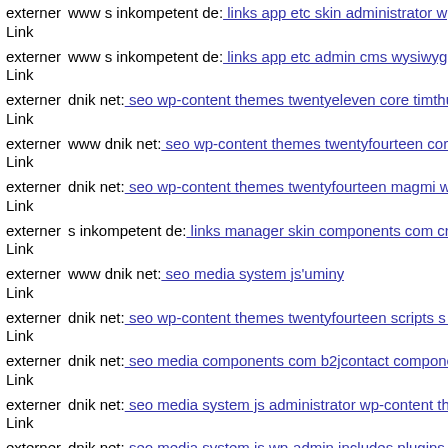externer Link www s inkompetent de: links app etc skin administrator wp
externer Link www s inkompetent de: links app etc admin cms wysiwyg c
externer Link dnik net: seo wp-content themes twentyeleven core timthun
externer Link www dnik net: seo wp-content themes twentyfourteen core
externer Link dnik net: seo wp-content themes twentyfourteen magmi we
externer Link s inkompetent de: links manager skin components com crea
externer Link www dnik net: seo media system js'uminy
externer Link dnik net: seo wp-content themes twentyfourteen scripts s in
externer Link dnik net: seo media components com b2jcontact componen
externer Link dnik net: seo media system js administrator wp-content ther
externer Link dnik net: seo media system js wp-admin includes plugins co
externer Link dnik net: seo media system js administrator wp-content ther